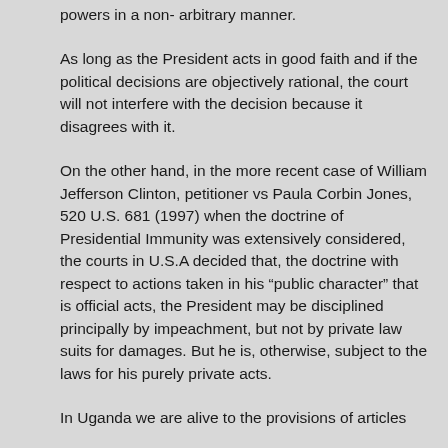powers in a non- arbitrary manner.
As long as the President acts in good faith and if the political decisions are objectively rational, the court will not interfere with the decision because it disagrees with it.
On the other hand, in the more recent case of William Jefferson Clinton, petitioner vs Paula Corbin Jones, 520 U.S. 681 (1997) when the doctrine of Presidential Immunity was extensively considered, the courts in U.S.A decided that, the doctrine with respect to actions taken in his “public character” that is official acts, the President may be disciplined principally by impeachment, but not by private law suits for damages. But he is, otherwise, subject to the laws for his purely private acts.
In Uganda we are alive to the provisions of articles